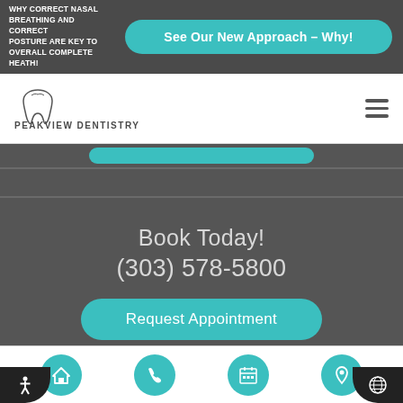WHY CORRECT NASAL BREATHING AND CORRECT POSTURE ARE KEY TO OVERALL COMPLETE HEATH!
See Our New Approach – Why!
[Figure (logo): PeakView Dentistry logo with tooth icon]
Book Today!
(303) 578-5800
Request Appointment
[Figure (infographic): Bottom navigation bar with home, phone, calendar, and location icons in teal circles]